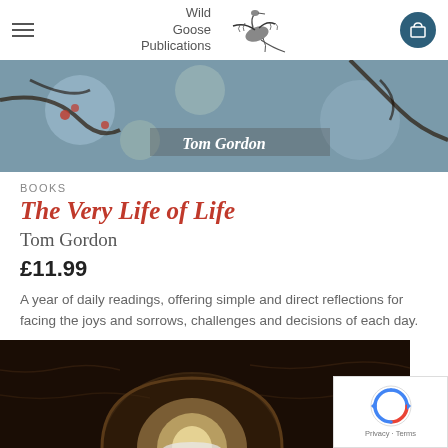Wild Goose Publications
[Figure (photo): Cropped book cover image showing 'Tom Gordon' text over a nature/branch background with bokeh effect]
BOOKS
The Very Life of Life
Tom Gordon
£11.99
A year of daily readings, offering simple and direct reflections for facing the joys and sorrows, challenges and decisions of each day.
[Figure (photo): Book cover photo showing a dark stone tunnel/arch with light at the end]